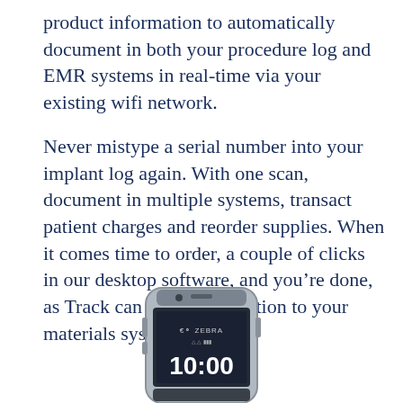product information to automatically document in both your procedure log and EMR systems in real-time via your existing wifi network.
Never mistype a serial number into your implant log again. With one scan, document in multiple systems, transact patient charges and reorder supplies. When it comes time to order, a couple of clicks in our desktop software, and you're done, as Track can send a requisition to your materials system.
[Figure (photo): A Zebra brand handheld mobile device/scanner shown from the front, displaying 10:00 on its screen, with a rugged gray and silver casing.]